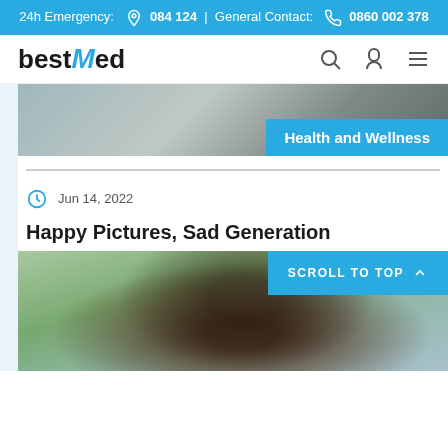24h Emergency: 084 124 | General Contact: 0860 002 378
[Figure (logo): bestMed logo with stylized M]
[Figure (photo): Partial hero image showing people in background with Health and Wellness badge overlay]
Jun 14, 2022
Happy Pictures, Sad Generation
[Figure (photo): Young Black woman looking sad/downcast, wearing light blue clothing, with green foliage in background. Scroll to Top button overlaid on top right.]